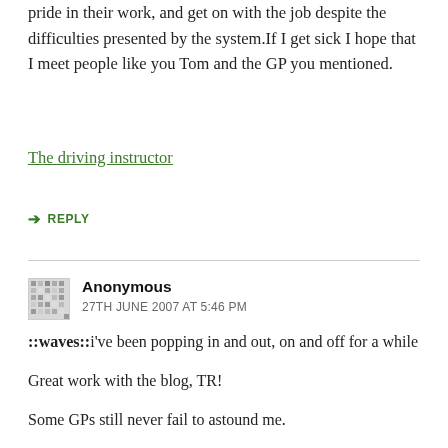pride in their work, and get on with the job despite the difficulties presented by the system.If I get sick I hope that I meet people like you Tom and the GP you mentioned.
The driving instructor
↳ REPLY
Anonymous
27TH JUNE 2007 AT 5:46 PM
::waves::i've been popping in and out, on and off for a while
Great work with the blog, TR!
Some GPs still never fail to astound me.
A fellow tech and I were called to a surgery a few months